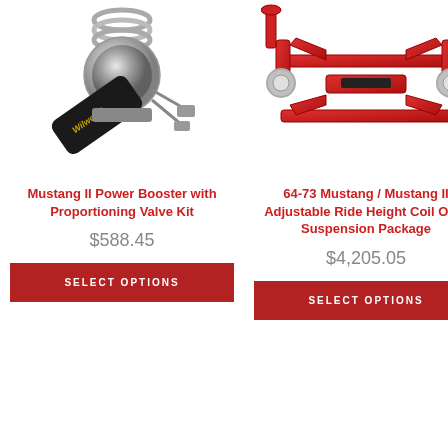[Figure (photo): Wilwood Mustang II Power Booster with Proportioning Valve Kit - chrome/silver brake booster component]
Mustang II Power Booster with Proportioning Valve Kit
$588.45
SELECT OPTIONS
[Figure (photo): 64-73 Mustang / Mustang II Adjustable Ride Height Coil Over Suspension Package - red painted suspension assembly]
64-73 Mustang / Mustang II Adjustable Ride Height Coil Over Suspension Package
$4,205.05
SELECT OPTIONS